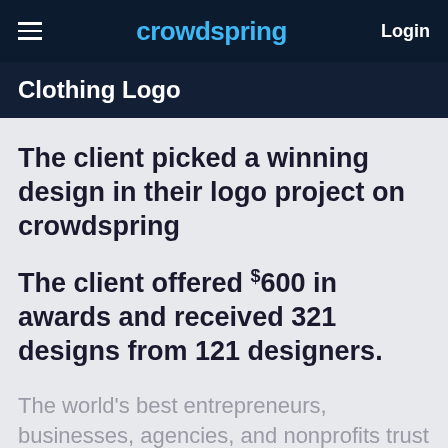crowdspring | Login
Clothing Logo
The client picked a winning design in their logo project on crowdspring
The client offered $600 in awards and received 321 designs from 121 designers.
The world's best entrepreneurs, businesses, agencies, and nonprofits trust crowdspring for custom logo needs.